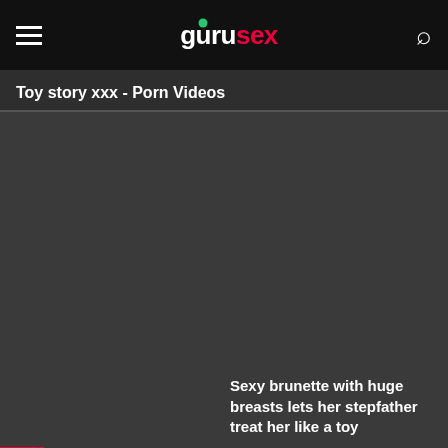gurusex
Toy story xxx - Porn Videos
[Figure (screenshot): Dark video thumbnail placeholder area on a website]
Sexy brunette with huge breasts lets her stepfather treat her like a toy